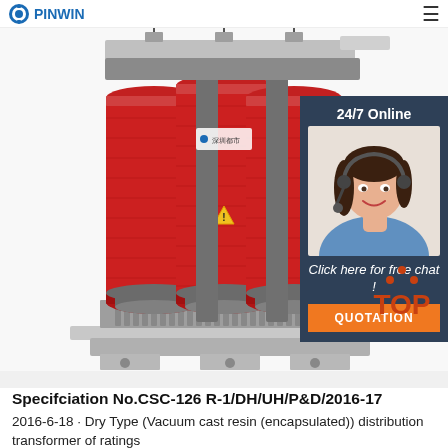PINWIN [logo] ☰
[Figure (photo): Three-phase dry-type (vacuum cast resin encapsulated) distribution transformer with red cylindrical coil windings, grey steel frame and mounting base. A warning triangle sticker is visible on the center coil.]
[Figure (photo): 24/7 Online customer service agent (woman with headset, smiling) with overlay panel showing 'Click here for free chat!' and 'QUOTATION' button]
[Figure (illustration): TOP badge/arrow logo in orange-red color]
Specifciation No.CSC-126 R-1/DH/UH/P&D/2016-17
2016-6-18 · Dry Type (Vacuum cast resin (encapsulated)) distribution transformer of ratings